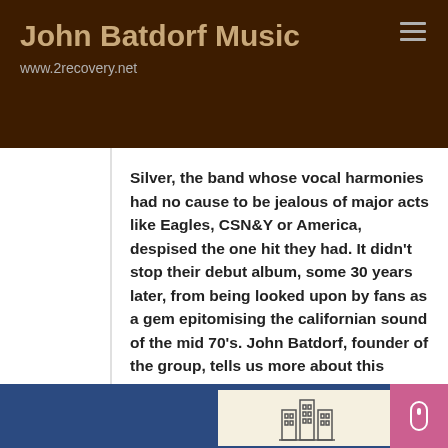John Batdorf Music
www.2recovery.net
Silver, the band whose vocal harmonies had no cause to be jealous of major acts like Eagles, CSN&Y or America, despised the one hit they had. It didn't stop their debut album, some 30 years later, from being looked upon by fans as a gem epitomising the californian sound of the mid 70's. John Batdorf, founder of the group, tells us more about this shooting Silver star
[Figure (illustration): Blue background with a cream/beige album cover card showing a simple line-art illustration of what appears to be a building or towers. A pink/magenta scrollbar or button is visible on the right.]